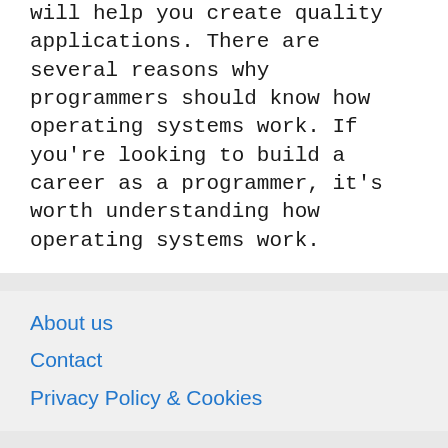will help you create quality applications. There are several reasons why programmers should know how operating systems work. If you're looking to build a career as a programmer, it's worth understanding how operating systems work.
About us
Contact
Privacy Policy & Cookies
ATTENTION TO RIGHT HOLDERS! All materials are posted on the site strictly for informational and educational purposes! If you believe that the posting of any material